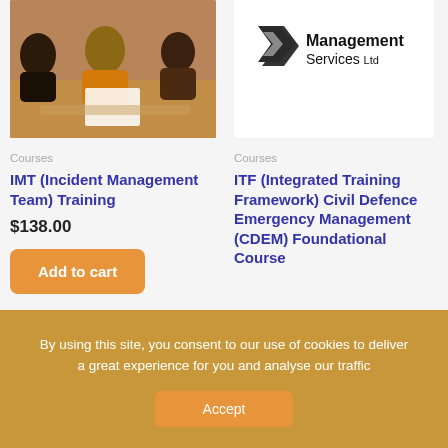[Figure (photo): Group of people in a training session, sitting in a circle, one person holding papers]
[Figure (logo): Emergency Management Services Ltd logo with chevron M icon]
Courses
IMT (Incident Management Team) Training
$138.00
Add to cart
Courses
ITF (Integrated Training Framework) Civil Defence Emergency Management (CDEM) Foundational Course
By using this site, you consent to our use of cookies to deliver a great experience for you and analyse our traffic
Accept